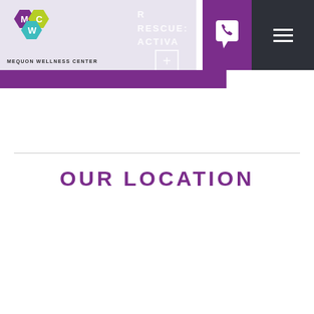[Figure (logo): Mequon Wellness Center logo with hexagonal M, W, C icons in purple, lime green, and teal, with text MEQUON WELLNESS CENTER below]
R RESCUE: ACTIVA REFRIGERATION
[Figure (infographic): Purple phone icon in a speech bubble shape on purple background, and hamburger menu icon on dark background]
OUR LOCATION